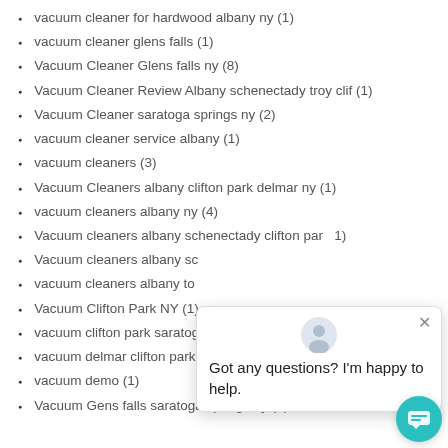vacuum cleaner for hardwood albany ny (1)
vacuum cleaner glens falls (1)
Vacuum Cleaner Glens falls ny (8)
Vacuum Cleaner Review Albany schenectady troy clif (1)
Vacuum Cleaner saratoga springs ny (2)
vacuum cleaner service albany (1)
vacuum cleaners (3)
Vacuum Cleaners albany clifton park delmar ny (1)
vacuum cleaners albany ny (4)
Vacuum cleaners albany schenectady clifton par (1)
Vacuum cleaners albany sc
vacuum cleaners albany to
Vacuum Clifton Park NY (1)
vacuum clifton park saratoga springs glens falls d (2)
vacuum delmar clifton park saratoga springs east g (1)
vacuum demo (1)
Vacuum Gens falls saratoga springs ny (1)